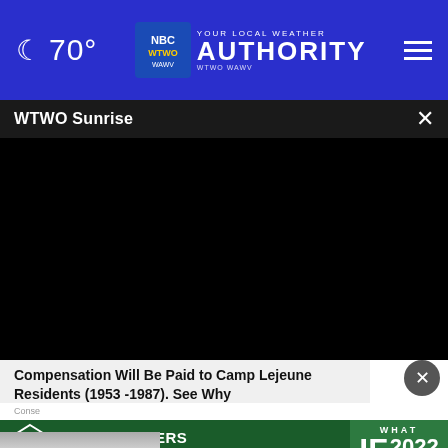🌙 70° | YOUR LOCAL WEATHER AUTHORITY | WTWO WAWV
WTWO Sunrise
[Figure (screenshot): Black video player area]
Compensation Will Be Paid to Camp Lejeune Residents (1953 -1987). See Why
Conse...
[Figure (logo): First Farmers Bank & Trust advertisement with WHAT IF 2022 branding on green background]